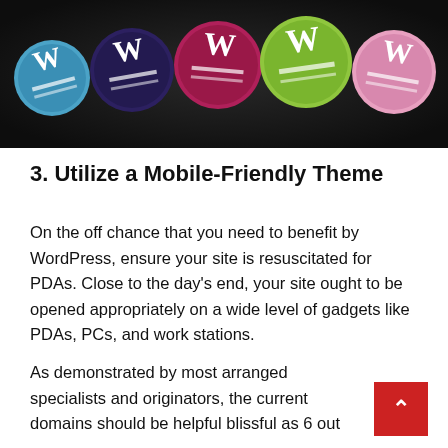[Figure (photo): Colorful round WordPress logo badges/buttons on a dark background — blue, purple/navy, green/lime, pink, and teal variants of the WordPress 'W' logo.]
3. Utilize a Mobile-Friendly Theme
On the off chance that you need to benefit by WordPress, ensure your site is resuscitated for PDAs. Close to the day's end, your site ought to be opened appropriately on a wide level of gadgets like PDAs, PCs, and work stations.
As demonstrated by most arranged specialists and originators, the current domains should be helpful blissful as 6 out